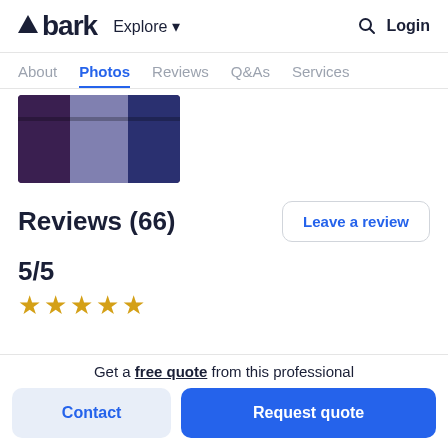bark  Explore  Login
About  Photos  Reviews  Q&As  Services
[Figure (photo): Photo of people from behind wearing jeans/pants]
Reviews (66)
Leave a review
5/5
★★★★★
Get a free quote from this professional
Contact
Request quote